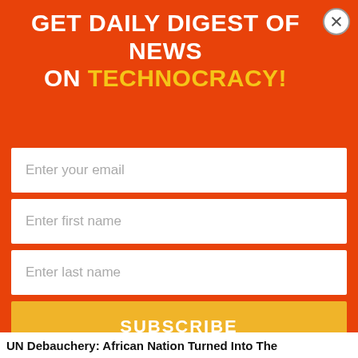GET DAILY DIGEST OF NEWS ON TECHNOCRACY!
Enter your email
Enter first name
Enter last name
SUBSCRIBE
[Figure (photo): A soldier in military camouflage gear holding a rifle walks on a dirt path, and a woman in a colorful blue and yellow African print dress stands nearby. Green grass and vegetation in background.]
UN Debauchery: African Nation Turned Into The